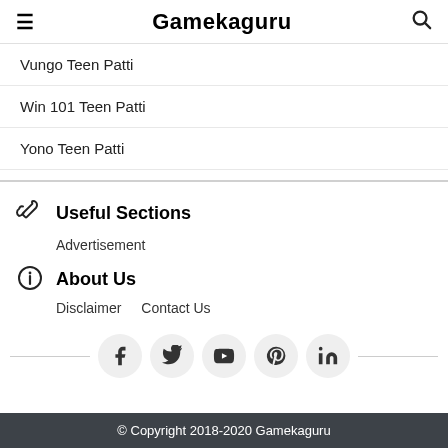Gamekaguru
Vungo Teen Patti
Win 101 Teen Patti
Yono Teen Patti
Useful Sections
Advertisement
About Us
Disclaimer
Contact Us
[Figure (infographic): Social media icons row: Facebook, Twitter, YouTube, Pinterest, LinkedIn]
© Copyright 2018-2020 Gamekaguru